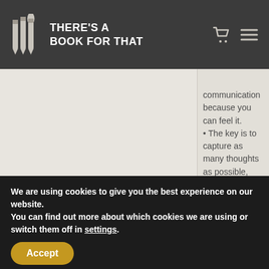THERE'S A BOOK FOR THAT
communication because you can feel it.
• The key is to capture as many thoughts as possible, and to spend as little time as possible organizing them.
That's why we created our books.
We are using cookies to give you the best experience on our website.
You can find out more about which cookies we are using or switch them off in settings.
Accept